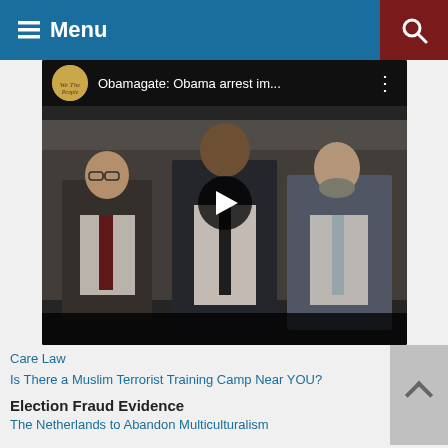Menu
[Figure (screenshot): YouTube-style video player showing three men in suits walking, with title 'Obamagate: Obama arrest im...' and a play button overlay]
Care Law
Is There a Muslim Terrorist Training Camp Near YOU?
Election Fraud Evidence
The Netherlands to Abandon Multiculturalism